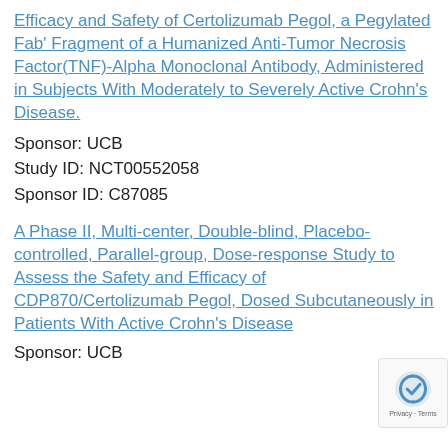Efficacy and Safety of Certolizumab Pegol, a Pegylated Fab' Fragment of a Humanized Anti-Tumor Necrosis Factor(TNF)-Alpha Monoclonal Antibody, Administered in Subjects With Moderately to Severely Active Crohn's Disease.
Sponsor: UCB
Study ID: NCT00552058
Sponsor ID: C87085
A Phase II, Multi-center, Double-blind, Placebo-controlled, Parallel-group, Dose-response Study to Assess the Safety and Efficacy of CDP870/Certolizumab Pegol, Dosed Subcutaneously in Patients With Active Crohn's Disease
Sponsor: UCB